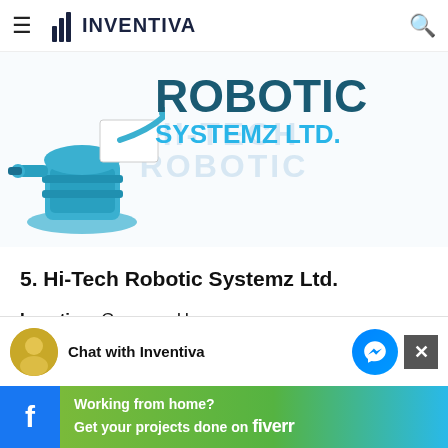≡ INVENTIVA 🔍
[Figure (logo): Hi-Tech Robotic Systemz Ltd. banner with robot image and large teal/blue text reading ROBOTIC SYSTEMZ LTD. with watermark HI-TECH ROBOTIC behind it]
5. Hi-Tech Robotic Systemz Ltd.
Location: Gurgaon, Haryana
Chat with Inventiva
Working from home? Get your projects done on fiverr